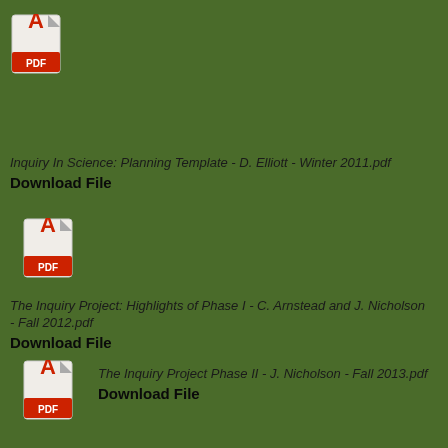[Figure (illustration): PDF file icon with red Adobe-style logo]
Inquiry In Science: Planning Template - D. Elliott - Winter 2011.pdf
Download File
[Figure (illustration): PDF file icon with red Adobe-style logo]
The Inquiry Project: Highlights of Phase I - C. Arnstead and J. Nicholson - Fall 2012.pdf
Download File
[Figure (illustration): PDF file icon with red Adobe-style logo]
The Inquiry Project Phase II - J. Nicholson - Fall 2013.pdf
Download File
[Figure (illustration): PDF file icon with red Adobe-style logo]
Inside Plato's Cave: Understanding Media Literacy - Athabasca University - Spring 2010.pdf
Download File
[Figure (illustration): PDF file icon with red Adobe-style logo]